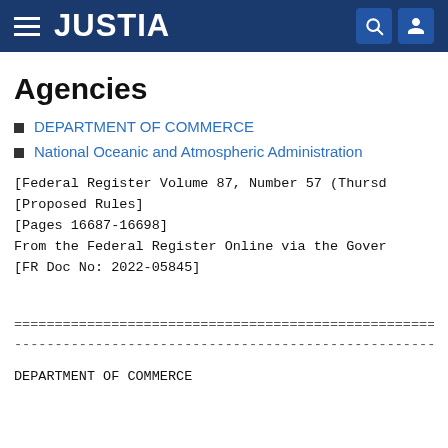JUSTIA
Agencies
DEPARTMENT OF COMMERCE
National Oceanic and Atmospheric Administration
[Federal Register Volume 87, Number 57 (Thursday,
[Proposed Rules]
[Pages 16687-16698]
From the Federal Register Online via the Government
[FR Doc No: 2022-05845]
================================================================
----------------------------------------------------------------
DEPARTMENT OF COMMERCE